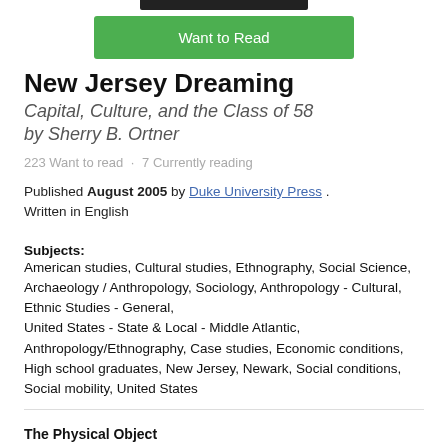[Figure (other): Dark top bar at top of page]
Want to Read
New Jersey Dreaming
Capital, Culture, and the Class of 58
by Sherry B. Ortner
223 Want to read · 7 Currently reading
Published August 2005 by Duke University Press . Written in English
Subjects: American studies, Cultural studies, Ethnography, Social Science, Archaeology / Anthropology, Sociology, Anthropology - Cultural, Ethnic Studies - General, United States - State & Local - Middle Atlantic, Anthropology/Ethnography, Case studies, Economic conditions, High school graduates, New Jersey, Newark, Social conditions, Social mobility, United States
The Physical Object